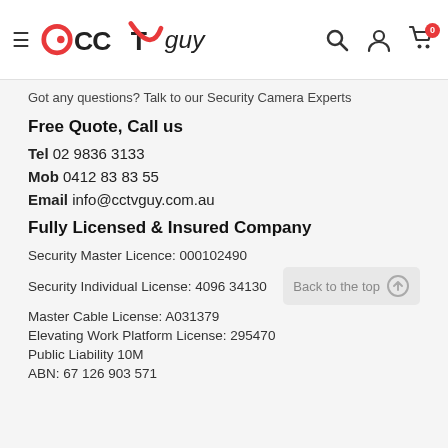CCTV Guy — navigation header with logo, search, account, and cart icons
Got any questions? Talk to our Security Camera Experts
Free Quote, Call us
Tel 02 9836 3133
Mob 0412 83 83 55
Email info@cctvguy.com.au
Fully Licensed & Insured Company
Security Master Licence: 000102490
Security Individual License: 4096 34130
Master Cable License: A031379
Elevating Work Platform License: 295470
Public Liability 10M
ABN: 67 126 903 571